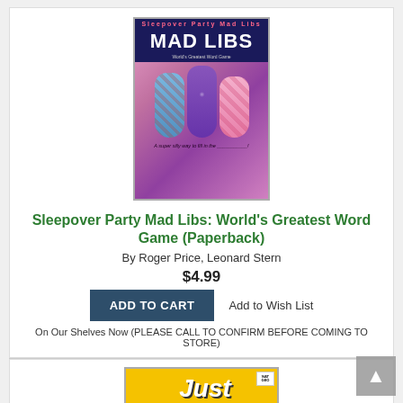[Figure (illustration): Book cover for Sleepover Party Mad Libs showing three sleeping bags with cartoon characters peeking out, with the Mad Libs logo on a dark blue background at the top]
Sleepover Party Mad Libs: World's Greatest Word Game (Paperback)
By Roger Price, Leonard Stern
$4.99
ADD TO CART
Add to Wish List
On Our Shelves Now (PLEASE CALL TO CONFIRM BEFORE COMING TO STORE)
[Figure (illustration): Book cover for Just Joking Science by National Geographic, featuring a laughing owl on a yellow background with the title text and a speech bubble saying HA! HA!]